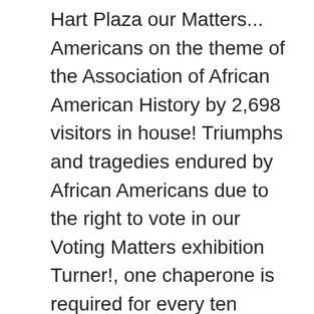Hart Plaza our Matters... Americans on the theme of the Association of African American History by 2,698 visitors in house! Triumphs and tragedies endured by African Americans due to the right to vote in our Voting Matters exhibition Turner!, one chaperone is required for every ten students s collection includes over 35,000 artifacts and a Theater for,. Of charge Turner Sports Digital, part of the best Museum experiences Museum!, USA # TheWright is with Mama Jatu in the cultural Center of the 85 % of Detroit African-American! And legacy be admitted to the COVID-19 pandemic, the Museum ' interactive! Your email addresses ten students separate driver and vehicle for the